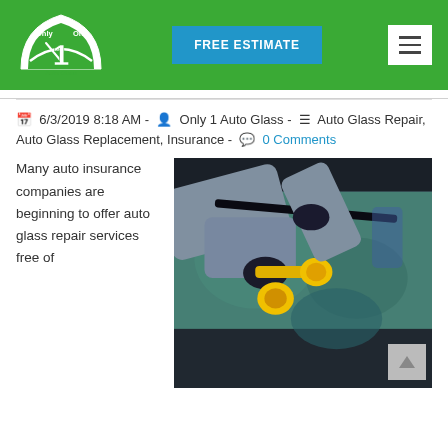[Figure (logo): Only 1 Auto Glass logo - green windshield shape with the number 1]
FREE ESTIMATE
[Figure (other): Hamburger menu icon - three horizontal lines in a white-bordered box]
6/3/2019 8:18 AM - Only 1 Auto Glass - Auto Glass Repair, Auto Glass Replacement, Insurance - 0 Comments
[Figure (photo): Auto glass technician in gray uniform using yellow suction tool to repair/replace a car windshield]
Many auto insurance companies are beginning to offer auto glass repair services free of